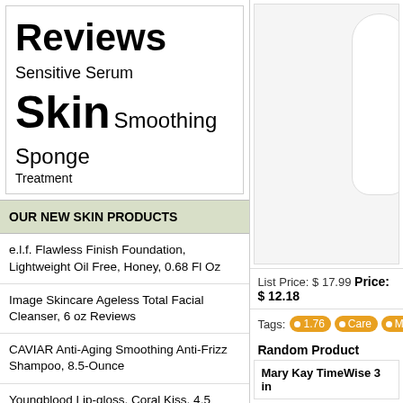Reviews Sensitive Serum Skin Smoothing Sponge Treatment
OUR NEW SKIN PRODUCTS
e.l.f. Flawless Finish Foundation, Lightweight Oil Free, Honey, 0.68 Fl Oz
Image Skincare Ageless Total Facial Cleanser, 6 oz Reviews
CAVIAR Anti-Aging Smoothing Anti-Frizz Shampoo, 8.5-Ounce
Youngblood Lip-gloss, Coral Kiss, 4.5 Gram Reviews
Sally Hansen Airbrush Legs, Leg Makeup Lotion, 4oz, Tan/bronze, 2 Count
Curél Skincare Extra Dry Skin Therapy Lotion, 12 Ounce Hydra Silk Moisturizer, with Advanced Ceramide Complex, and Aloe Water, Experience Optimal Moisture Absorption
[Figure (photo): Product bottle image on white/light gray background]
List Price: $ 17.99 Price: $ 12.18
Tags: 1.76  Care  Mederma
Random Product
Mary Kay TimeWise 3 in